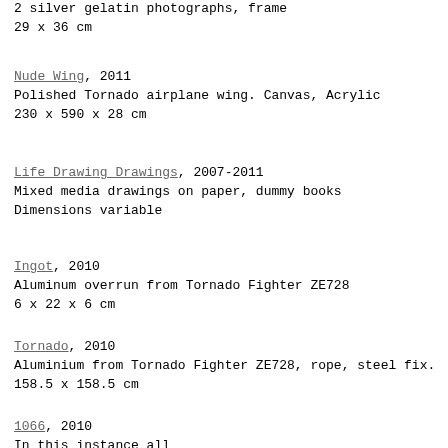2 silver gelatin photographs, frame
29 x 36 cm
Nude Wing, 2011
Polished Tornado airplane wing. Canvas, Acrylic
230 x 590 x 28 cm
Life Drawing Drawings, 2007-2011
Mixed media drawings on paper, dummy books
Dimensions variable
Ingot, 2010
Aluminum overrun from Tornado Fighter ZE728
6 x 22 x 6 cm
Tornado, 2010
Aluminium from Tornado Fighter ZE728, rope, steel fix.
158.5 x 158.5 cm
1066, 2010
In this instance all...